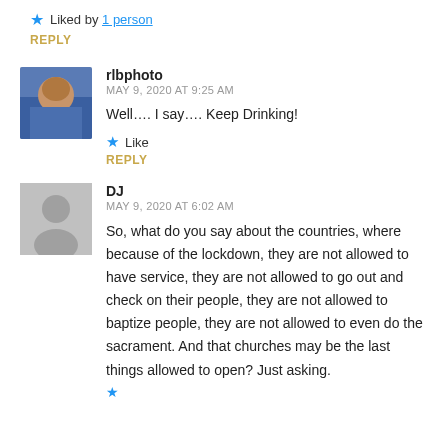★ Liked by 1 person
REPLY
rlbphoto
MAY 9, 2020 AT 9:25 AM
Well…. I say…. Keep Drinking!
★ Like
REPLY
DJ
MAY 9, 2020 AT 6:02 AM
So, what do you say about the countries, where because of the lockdown, they are not allowed to have service, they are not allowed to go out and check on their people, they are not allowed to baptize people, they are not allowed to even do the sacrament. And that churches may be the last things allowed to open? Just asking.
★